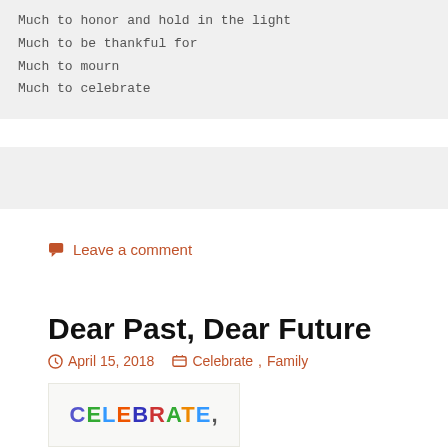Much to honor and hold in the light
Much to be thankful for
Much to mourn
Much to celebrate
[Figure (other): Gray bar placeholder/ad block]
Leave a comment
Dear Past, Dear Future
April 15, 2018   Celebrate, Family
[Figure (illustration): Colorful 'CELEBRATE' text image]